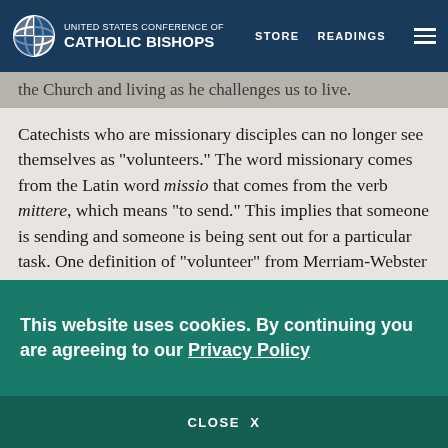UNITED STATES CONFERENCE OF CATHOLIC BISHOPS | STORE | READINGS
full-nature of what it means to be a Catholic: being the Church and living as he challenges us to live.
Catechists who are missionary disciples can no longer see themselves as "volunteers." The word missionary comes from the Latin word missio that comes from the verb mittere, which means "to send." This implies that someone is sending and someone is being sent out for a particular task. One definition of "volunteer" from Merriam-Webster focuses on the willingness of a person to freely take on some role or service. While catechists fulfill this definition, it does not take into account that catechists are called and sent by Jesus
This website uses cookies. By continuing you are agreeing to our Privacy Policy
CLOSE X